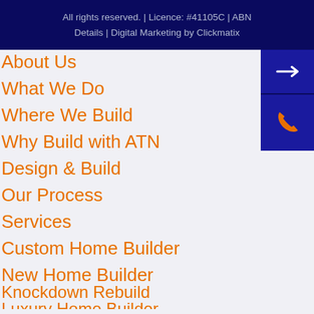All rights reserved. | Licence: #41105C | ABN Details | Digital Marketing by Clickmatix
About Us
What We Do
Where We Build
Why Build with ATN
Design & Build
Our Process
Services
Custom Home Builder
New Home Builder
Knockdown Rebuild
Luxury Home Builder
Home Additions Sydney